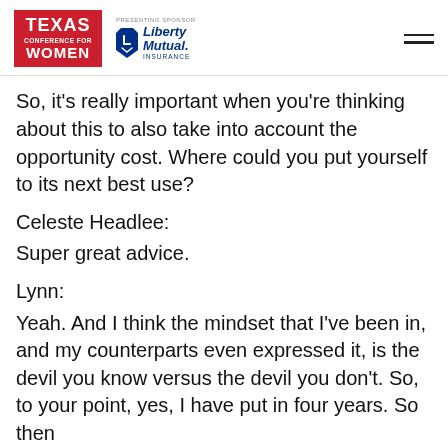Texas Conference for Women | Presenting Sponsor: Liberty Mutual Insurance
So, it’s really important when you’re thinking about this to also take into account the opportunity cost. Where could you put yourself to its next best use?
Celeste Headlee:
Super great advice.
Lynn:
Yeah. And I think the mindset that I’ve been in, and my counterparts even expressed it, is the devil you know versus the devil you don’t. So, to your point, yes, I have put in four years. So then